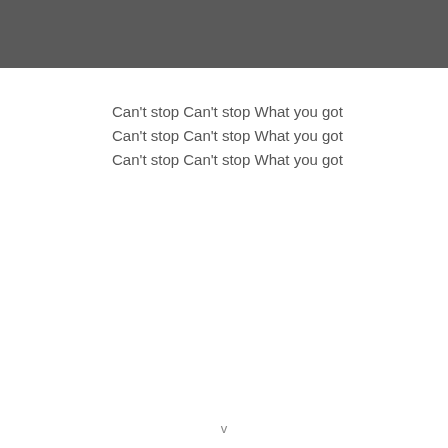Can't stop Can't stop What you got
Can't stop Can't stop What you got
Can't stop Can't stop What you got
v